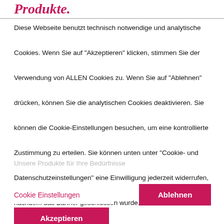Produkte.
Diese Webseite benutzt technisch notwendige und analytische Cookies. Wenn Sie auf "Akzeptieren" klicken, stimmen Sie der Verwendung von ALLEN Cookies zu. Wenn Sie auf "Ablehnen" drücken, können Sie die analytischen Cookies deaktivieren. Sie können die Cookie-Einstellungen besuchen, um eine kontrollierte Zustimmung zu erteilen. Sie können unten unter "Cookie- und Datenschutzeinstellungen" eine Einwilligung jederzeit widerrufen, nachdem das Banner geschlossen wurde. Weitere Informationen in unserer Datenschutzerklärung.
Unsere Produkte für Ihre Bedürfnisse
Cookie Einstellungen
Ablehnen
Akzeptieren